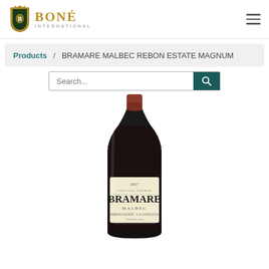Boné International
Products / BRAMARE MALBEC REBON ESTATE MAGNUM
Search...
[Figure (photo): Wine bottle of Bramare Malbec, 2017 vintage, Rebon Estate label, dark glass bottle with red foil capsule and cream label]